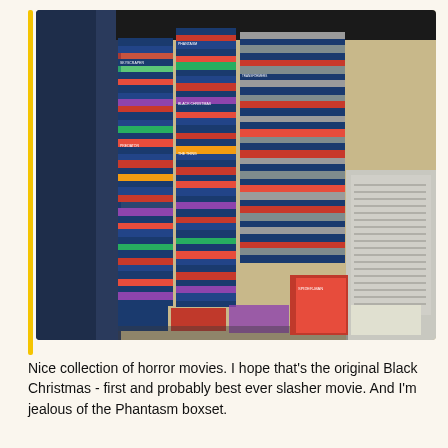[Figure (photo): A large collection of Blu-ray and DVD movies stacked in tall piles on the floor next to a person and a computer tower, showing horror movies and other titles.]
Nice collection of horror movies. I hope that's the original Black Christmas - first and probably best ever slasher movie. And I'm jealous of the Phantasm boxset.